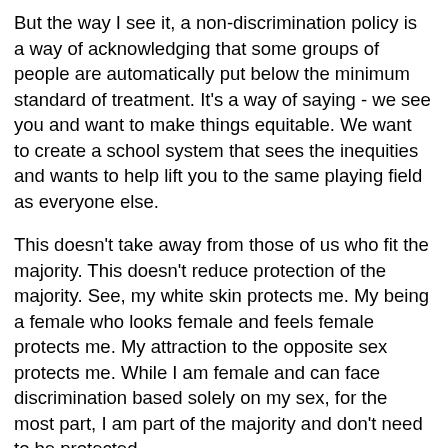But the way I see it, a non-discrimination policy is a way of acknowledging that some groups of people are automatically put below the minimum standard of treatment. It's a way of saying - we see you and want to make things equitable. We want to create a school system that sees the inequities and wants to help lift you to the same playing field as everyone else.
This doesn't take away from those of us who fit the majority. This doesn't reduce protection of the majority. See, my white skin protects me. My being a female who looks female and feels female protects me. My attraction to the opposite sex protects me. While I am female and can face discrimination based solely on my sex, for the most part, I am part of the majority and don't need to be protected.
Finally, I'd just like to say that when we learn to embrace diversity, when we learn to listen and believe those who have different experiences from our own, when we want to embrace the ideals of diversity, safety, justice, excellence - it ends up benefiting everyone. I wasn't taught to be the person I am today in the church of my childhood or by my